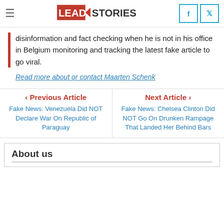Lead Stories
disinformation and fact checking when he is not in his office in Belgium monitoring and tracking the latest fake article to go viral.
Read more about or contact Maarten Schenk
< Previous Article
Fake News: Venezuela Did NOT Declare War On Republic of Paraguay
Next Article >
Fake News: Chelsea Clinton Did NOT Go On Drunken Rampage That Landed Her Behind Bars
About us